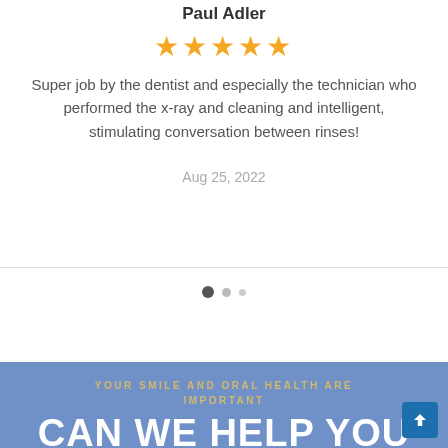Paul Adler
[Figure (other): Five gold star rating icons]
Super job by the dentist and especially the technician who performed the x-ray and cleaning and intelligent, stimulating conversation between rinses!
Aug 25, 2022
[Figure (other): Carousel pagination dots: one filled dark, one medium grey, one small grey]
YOUR SMILE AND ORAL HEALTH ARE IMPORTANT
CAN WE HELP YOU SMILE AGAIN